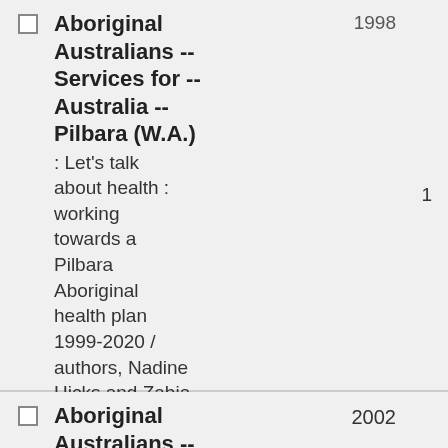Aboriginal Australians -- Services for -- Australia -- Pilbara (W.A.) : Let's talk about health : working towards a Pilbara Aboriginal health plan 1999-2020 / authors, Nadine Hicks and Zabia Chmielewski
Aboriginal Australians -- 2002